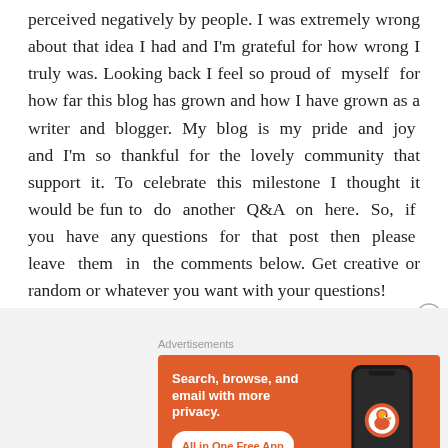perceived negatively by people. I was extremely wrong about that idea I had and I'm grateful for how wrong I truly was. Looking back I feel so proud of myself for how far this blog has grown and how I have grown as a writer and blogger. My blog is my pride and joy and I'm so thankful for the lovely community that support it. To celebrate this milestone I thought it would be fun to do another Q&A on here. So, if you have any questions for that post then please leave them in the comments below. Get creative or random or whatever you want with your questions!
Advertisements
[Figure (other): DuckDuckGo advertisement banner with orange background showing 'Search, browse, and email with more privacy. All in One Free App' text on the left and a phone with DuckDuckGo logo on the right.]